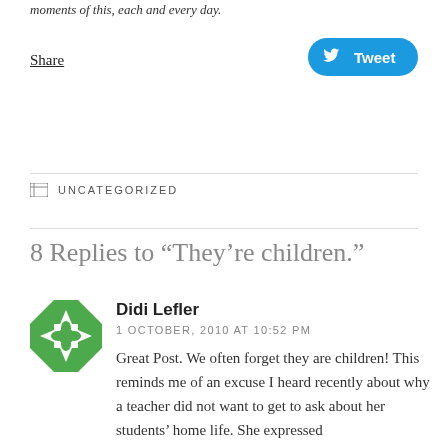moments of this, each and every day.
Share
[Figure (other): Tweet button with Twitter bird icon]
UNCATEGORIZED
8 Replies to “They’re children.”
[Figure (other): Green and white geometric avatar for Didi Lefler]
Didi Lefler
1 OCTOBER, 2010 AT 10:52 PM
Great Post. We often forget they are children! This reminds me of an excuse I heard recently about why a teacher did not want to get to ask about her students’ home life. She expressed